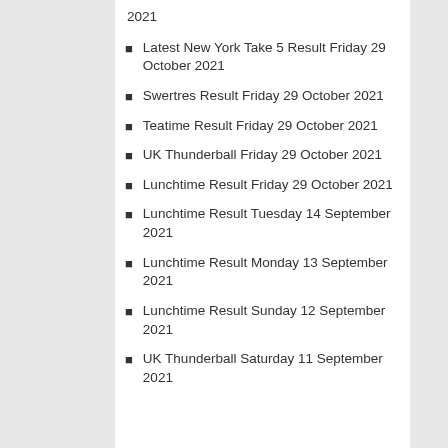2021
Latest New York Take 5 Result Friday 29 October 2021
Swertres Result Friday 29 October 2021
Teatime Result Friday 29 October 2021
UK Thunderball Friday 29 October 2021
Lunchtime Result Friday 29 October 2021
Lunchtime Result Tuesday 14 September 2021
Lunchtime Result Monday 13 September 2021
Lunchtime Result Sunday 12 September 2021
UK Thunderball Saturday 11 September 2021